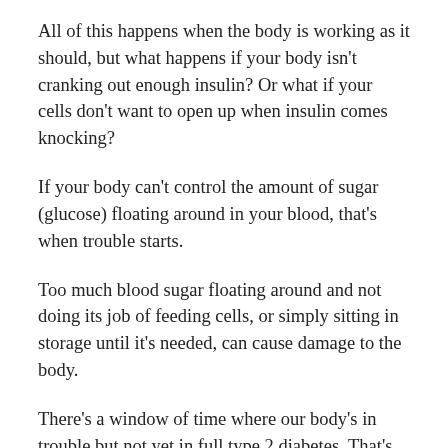All of this happens when the body is working as it should, but what happens if your body isn't cranking out enough insulin? Or what if your cells don't want to open up when insulin comes knocking?
If your body can't control the amount of sugar (glucose) floating around in your blood, that's when trouble starts.
Too much blood sugar floating around and not doing its job of feeding cells, or simply sitting in storage until it's needed, can cause damage to the body.
There's a window of time where our body's in trouble but not yet in full type 2 diabetes. That's where we are – in prediabetes land.
If we don't do something about the insulin problem, we'll